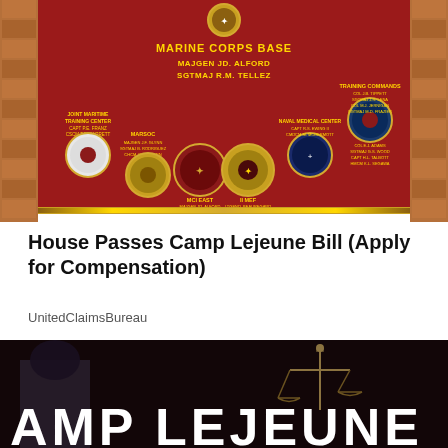[Figure (photo): Photo of a Marine Corps Base sign on a red background with various military unit emblems/seals, gold lettering reading MARINE CORPS BASE / MAJGEN JD ALFORD / SGTMAJ R.M. TELLEZ, flanked by brick pillars]
House Passes Camp Lejeune Bill (Apply for Compensation)
UnitedClaimsBureau
[Figure (photo): Dark background photo showing scales of justice and large white bold text reading AMP LEJEUNE at the bottom]